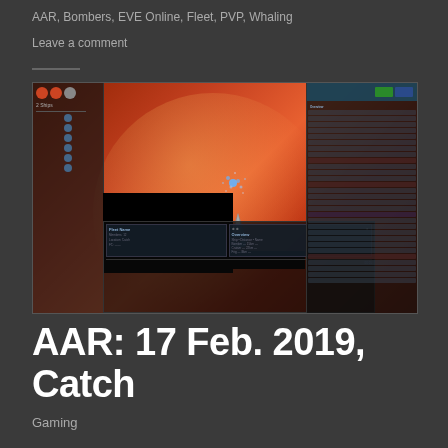AAR, Bombers, EVE Online, Fleet, PVP, Whaling
Leave a comment
[Figure (screenshot): EVE Online game screenshot showing a space scene with a large red planet/star, a spaceship in the center, fleet UI panels on the left and right sides, and various HUD overlays. Some areas are blacked out/redacted.]
AAR: 17 Feb. 2019, Catch
Gaming